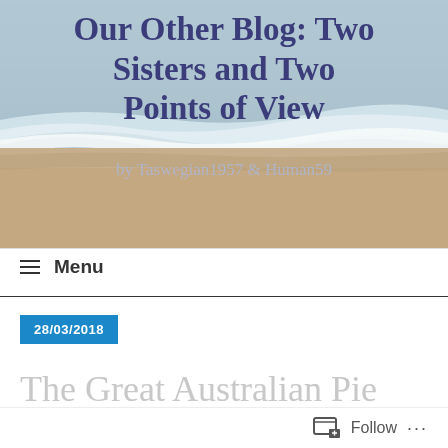[Figure (photo): Beach scene with ocean waves and sand serving as blog header background image]
Our Other Blog: Two Sisters and Two Points of View
by Taswegian1957 & Human59
≡ Menu
28/03/2018
The Great Australian Pie
Follow ...